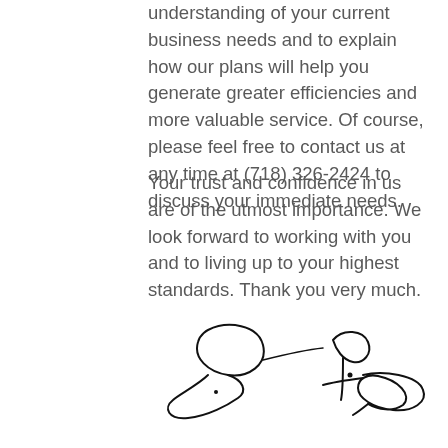understanding of your current business needs and to explain how our plans will help you generate greater efficiencies and more valuable service. Of course, please feel free to contact us at any time at (718) 326-2424 to discuss your immediate needs.
Your trust and confidence in us are of the utmost importance. We look forward to working with you and to living up to your highest standards. Thank you very much.
[Figure (illustration): Handwritten signature of Les Stern, CEO]
Les Stern
CEO
East Coast Exchange & Consulting